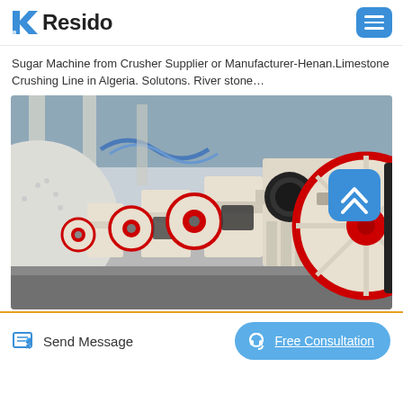Resido
Sugar Machine from Crusher Supplier or Manufacturer-Henan.Limestone Crushing Line in Algeria. Solutons. River stone…
[Figure (photo): Industrial jaw crusher machines lined up in a factory/workshop. Multiple white and red flywheel assemblies with black belts visible, in a manufacturing facility. A blue scroll-to-top button overlaid in the upper-right corner of the image.]
Send Message
Free Consultation